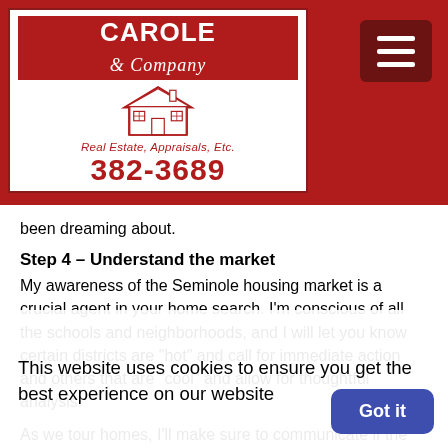Carole & Company — Real Estate, Appraisals, Etc. — 382-3689
been dreaming about.
Step 4 – Understand the market
My awareness of the Seminole housing market is a crucial agent in your home search. I'm conscious of all the schools and neighborhoods, and I will let you know certain districts are "hot" and call for immediate action and others that are "cool" and allow for thoughtful analysis.
As we tour homes, I'll make sure to communicate if the asking price has room for negotiation or if I
This website uses cookies to ensure you get the best experience on our website